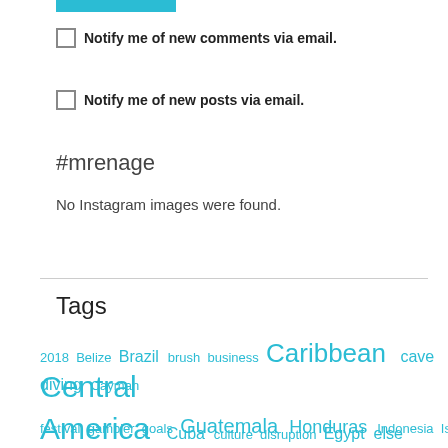[Figure (other): Teal/cyan horizontal bar at top of page]
Notify me of new comments via email.
Notify me of new posts via email.
#mrenage
No Instagram images were found.
Tags
2018  Belize  Brazil  brush  business  Caribbean  cave diving  Cayman
Central America  Cuba  culture  disruption  Egypt  else
festival  gambier  goals  Guatemala  Honduras  Indonesia  Israel  Jamaica